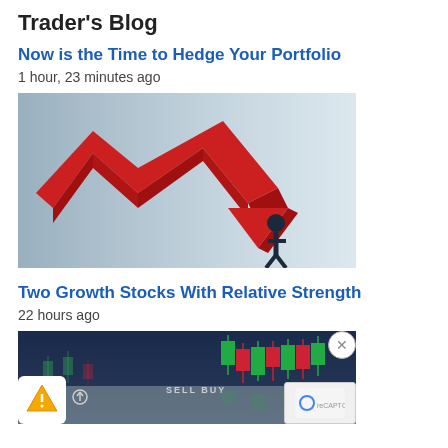Trader's Blog
Now is the Time to Hedge Your Portfolio
1 hour, 23 minutes ago
[Figure (illustration): A red 3D downward arrow chart with a silhouette of a person being knocked down by it, on a light blue-grey background. Represents market decline.]
Two Growth Stocks With Relative Strength
22 hours ago
[Figure (photo): Stock market trading screen showing candlestick chart with green and red candles, with 'SELL' and 'BUY' labels visible at the bottom. Partially obscured by an ad overlay with a small logo icon and close button.]